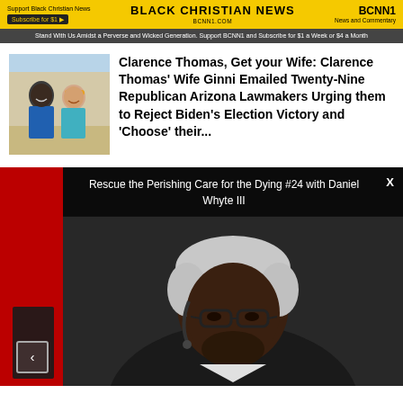BLACK CHRISTIAN NEWS | BCNN1.COM | BCNN1 News and Commentary | Support Black Christian News | Subscribe for $1
Stand With Us Amidst a Perverse and Wicked Generation. Support BCNN1 and Subscribe for $1 a Week or $4 a Month
Clarence Thomas, Get your Wife: Clarence Thomas' Wife Ginni Emailed Twenty-Nine Republican Arizona Lawmakers Urging them to Reject Biden's Election Victory and 'Choose' their...
[Figure (photo): Photo of Clarence Thomas and his wife Ginni Thomas smiling together outdoors]
[Figure (screenshot): Video player showing a man with white/gray hair and glasses, with overlay text: Rescue the Perishing Care for the Dying #24 with Daniel Whyte III]